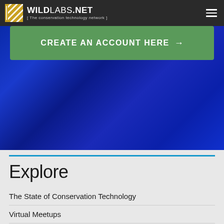WILDLABS.NET [ The conservation technology network ]
CREATE AN ACCOUNT HERE →
[Figure (photo): Blue gradient background hero section]
Explore
The State of Conservation Technology
Virtual Meetups
Tech Tutors
Technical Difficulties